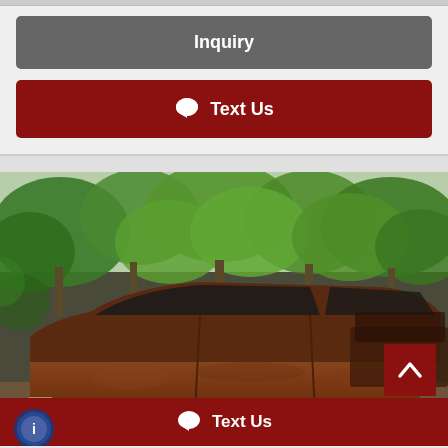Inquiry
Text Us
[Figure (photo): A heavily rusted classic American car (large sedan/limousine) parked outdoors in a wooded area with green trees in the background. The car is severely deteriorated with rust covering most of the body.]
Text Us